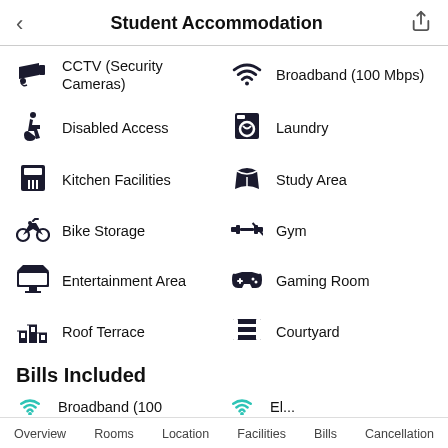Student Accommodation
CCTV (Security Cameras)
Broadband (100 Mbps)
Disabled Access
Laundry
Kitchen Facilities
Study Area
Bike Storage
Gym
Entertainment Area
Gaming Room
Roof Terrace
Courtyard
Bills Included
Broadband (100
Overview  Rooms  Location  Facilities  Bills  Cancellation